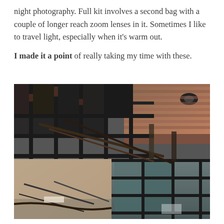night photography. Full kit involves a second bag with a couple of longer reach zoom lenses in it. Sometimes I like to travel light, especially when it's warm out.

I made it a point of really taking my time with these.
[Figure (photo): Aerial or elevated view of a fire-damaged building structure showing charred metal grid framework with water pooled in compartments, burnt debris, damaged roofing tiles visible in upper right, and rubble/debris on ground level in lower left]